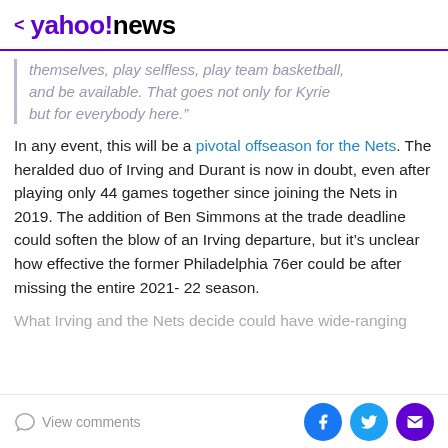< yahoo!news
themselves, play selfless, play team basketball, and be available. That goes not only for Kyrie but for everybody here.”
In any event, this will be a pivotal offseason for the Nets. The heralded duo of Irving and Durant is now in doubt, even after playing only 44 games together since joining the Nets in 2019. The addition of Ben Simmons at the trade deadline could soften the blow of an Irving departure, but it’s unclear how effective the former Philadelphia 76er could be after missing the entire 2021-22 season.
What Irving and the Nets decide could have wide-ranging
View comments